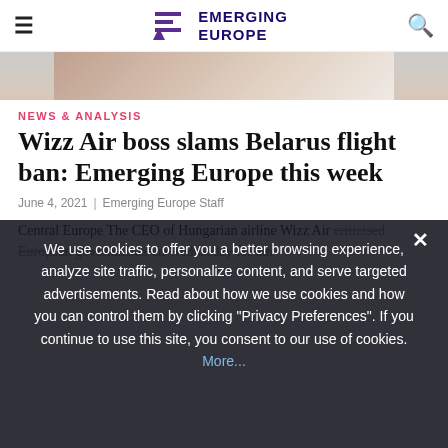≡  EMERGING EUROPE  🔍
[Figure (photo): Partial hero image showing a person, cropped at top of article]
NEWS & ANALYSIS
Wizz Air boss slams Belarus flight ban: Emerging Europe this week
June 4, 2021  |  Emerging Europe Staff
Central Europe The CEO of Hungarian airline Wizz Air criticised European governments on Wednesday for lan...
We use cookies to offer you a better browsing experience, analyze site traffic, personalize content, and serve targeted advertisements. Read about how we use cookies and how you can control them by clicking "Privacy Preferences". If you continue to use this site, you consent to our use of cookies. More...